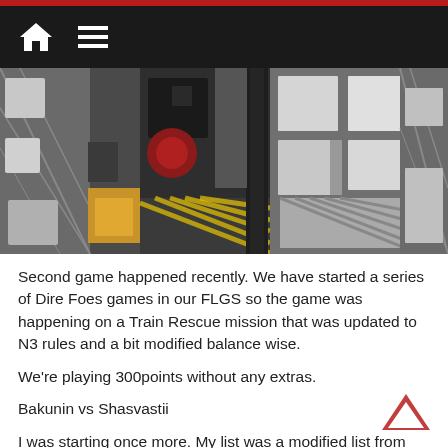Navigation bar with home and menu icons
[Figure (photo): Aerial/top-down view of a miniature wargame board showing sci-fi terrain tiles with buildings, corridors, and tactical map elements.]
Second game happened recently. We have started a series of Dire Foes games in our FLGS so the game was happening on a Train Rescue mission that was updated to N3 rules and a bit modified balance wise.
We're playing 300points without any extras.
Bakunin vs Shasvastii
I was starting once more. My list was a modified list from the Xenotech tournament mentioned above.